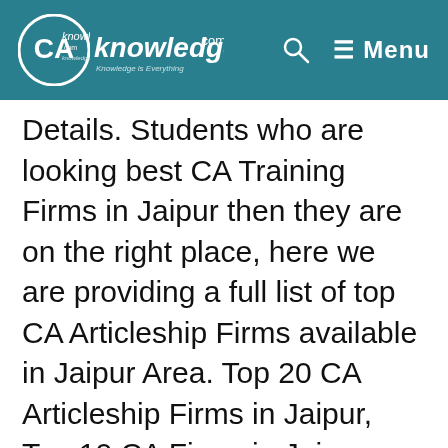CAknowledge.com | Menu
Details. Students who are looking best CA Training Firms in Jaipur then they are on the right place, here we are providing a full list of top CA Articleship Firms available in Jaipur Area. Top 20 CA Articleship Firms in Jaipur, Top 10 CA Firms in Jaipur, Top 50 CA Articleship Firms in Jaipur. Recently CA Inter Result and CA IPCC Result is declared and many students from Jaipur are passed CA IPCC Exams.
Now everyone one is searching CA